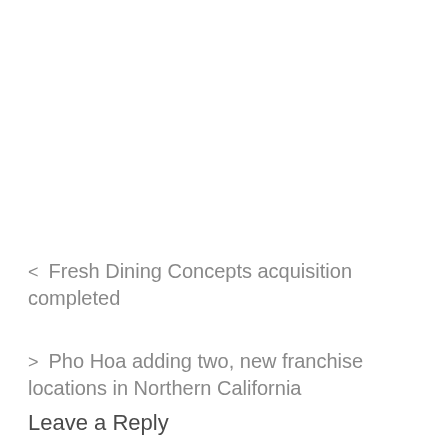< Fresh Dining Concepts acquisition completed
> Pho Hoa adding two, new franchise locations in Northern California
Leave a Reply